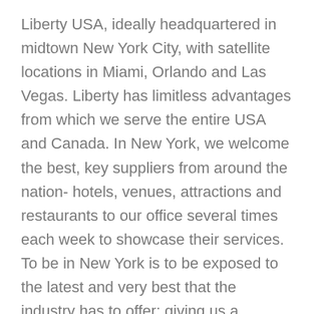Liberty USA, ideally headquartered in midtown New York City, with satellite locations in Miami, Orlando and Las Vegas. Liberty has limitless advantages from which we serve the entire USA and Canada. In New York, we welcome the best, key suppliers from around the nation- hotels, venues, attractions and restaurants to our office several times each week to showcase their services. To be in New York is to be exposed to the latest and very best that the industry has to offer; giving us a privileged, direct relationship with the suppliers and an ability to offer special client programs. And then monthly or more often, a team member visits a major city to further refine our delivery. Ours is a multicity mentality of best practices, where we know the best options for a